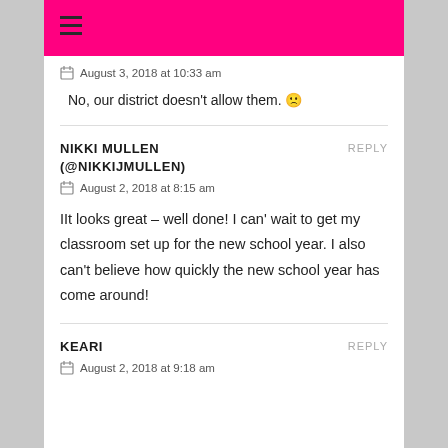August 3, 2018 at 10:33 am
No, our district doesn't allow them. 🙁
NIKKI MULLEN (@NIKKIJMULLEN)
REPLY
August 2, 2018 at 8:15 am
IIt looks great – well done! I can' wait to get my classroom set up for the new school year. I also can't believe how quickly the new school year has come around!
KEARI
REPLY